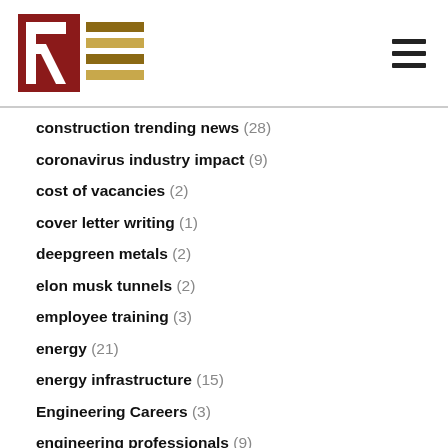RE logo and navigation
construction trending news (28)
coronavirus industry impact (9)
cost of vacancies (2)
cover letter writing (1)
deepgreen metals (2)
elon musk tunnels (2)
employee training (3)
energy (21)
energy infrastructure (15)
Engineering Careers (3)
engineering professionals (9)
Engineering Recruiter (4)
Engineers (11)
foundry industry (3)
fracking (3)